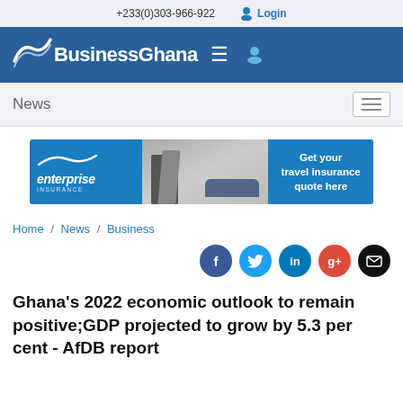+233(0)303-966-922   Login
[Figure (logo): BusinessGhana logo with navigation hamburger icon and user icon on blue background]
News
[Figure (other): Enterprise Insurance travel insurance advertisement banner: 'Get your travel insurance quote here']
Home / News / Business
[Figure (infographic): Social sharing icons: Facebook, Twitter, LinkedIn, Google+, Email]
Ghana's 2022 economic outlook to remain positive;GDP projected to grow by 5.3 per cent - AfDB report